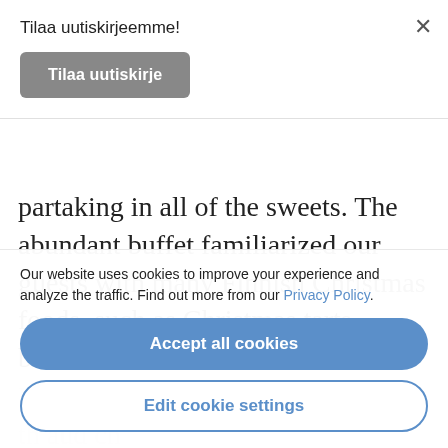Tilaa uutiskirjeemme!
Tilaa uutiskirje
partaking in all of the sweets. The abundant buffet familiarized our guests with many Finnish Christmas foods, such as Christmas tarts, breads and cheeses.
Our website uses cookies to improve your experience and analyze the traffic. Find out more from our Privacy Policy.
Accept all cookies
Edit cookie settings